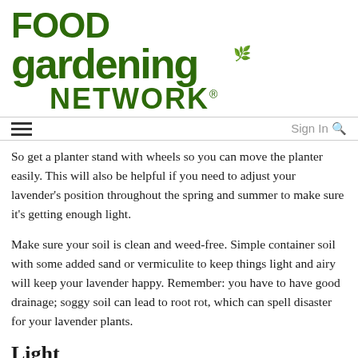[Figure (logo): Food Gardening Network logo in dark green bold text with a leaf accent on the letter i in gardening]
Sign In 🔍
So get a planter stand with wheels so you can move the planter easily. This will also be helpful if you need to adjust your lavender's position throughout the spring and summer to make sure it's getting enough light.
Make sure your soil is clean and weed-free. Simple container soil with some added sand or vermiculite to keep things light and airy will keep your lavender happy. Remember: you have to have good drainage; soggy soil can lead to root rot, which can spell disaster for your lavender plants.
Light
Lavender needs a full day of sun to flourish—at least 6 hours; 8